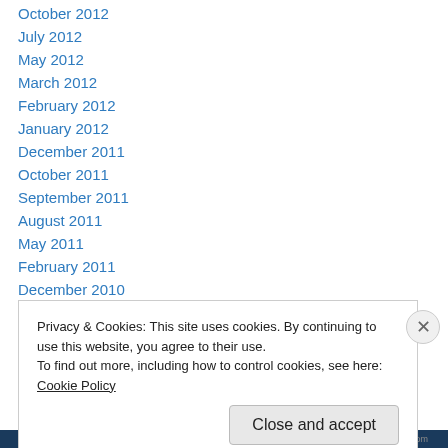October 2012
July 2012
May 2012
March 2012
February 2012
January 2012
December 2011
October 2011
September 2011
August 2011
May 2011
February 2011
December 2010
Privacy & Cookies: This site uses cookies. By continuing to use this website, you agree to their use.
To find out more, including how to control cookies, see here: Cookie Policy
Close and accept